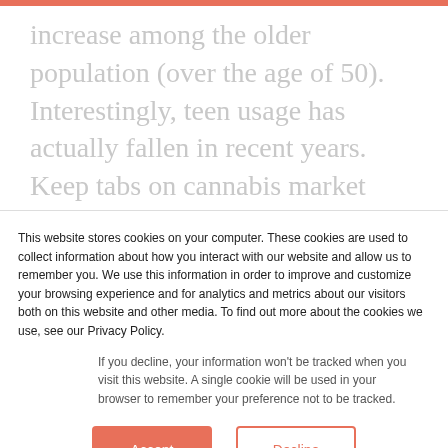increase among the older population (over the age of 50).  Interestingly, teen usage has actually fallen in recent years. Keep tabs on cannabis market share and growth within each age group—which is still admittedly dominated by the younger crowd—for indicators about where and how to promote or position your
This website stores cookies on your computer. These cookies are used to collect information about how you interact with our website and allow us to remember you. We use this information in order to improve and customize your browsing experience and for analytics and metrics about our visitors both on this website and other media. To find out more about the cookies we use, see our Privacy Policy.
If you decline, your information won't be tracked when you visit this website. A single cookie will be used in your browser to remember your preference not to be tracked.